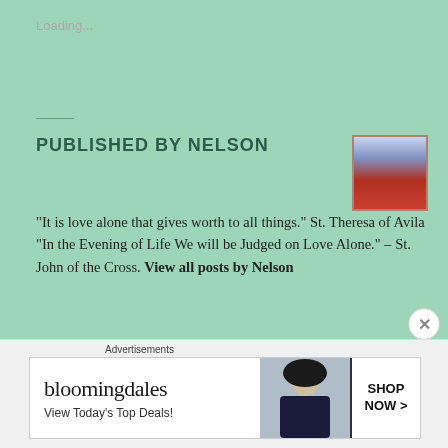Loading...
PUBLISHED BY NELSON
[Figure (photo): Small portrait photo of Jesus Christ with Sacred Heart imagery]
"It is love alone that gives worth to all things." St. Theresa of Avila "In the Evening of Life We will be Judged on Love Alone." – St. John of the Cross. View all posts by Nelson
Posted on February 27, 2022 by Nelson
Posted in Liturgical Texts, Liturgy
Tagged വിഭൂതി, Liturgical Texts, Liturgy, Syro Malabar Liturgy, Vibhoothi.
Advertisements
[Figure (screenshot): Bloomingdale's advertisement banner: 'View Today's Top Deals!' with SHOP NOW button]